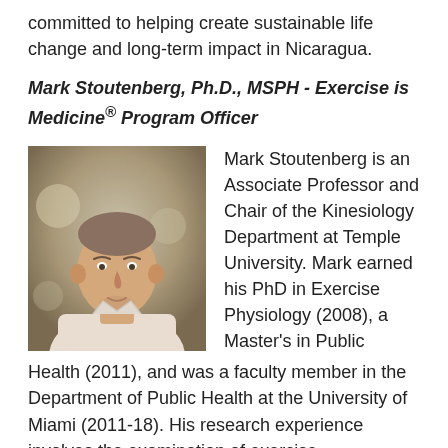committed to helping create sustainable life change and long-term impact in Nicaragua.
Mark Stoutenberg, Ph.D., MSPH - Exercise is Medicine® Program Officer
[Figure (photo): Headshot of Mark Stoutenberg, a bald/closely-shaved white male in a light pink shirt, photographed outdoors with a blurred green/neutral background.]
Mark Stoutenberg is an Associate Professor and Chair of the Kinesiology Department at Temple University. Mark earned his PhD in Exercise Physiology (2008), a Master's in Public Health (2011), and was a faculty member in the Department of Public Health at the University of Miami (2011-18). His research experience involves the examination of exercise interventions in different populations, such as untrained, inactive adults, breast cancer survivors, and individuals with substance